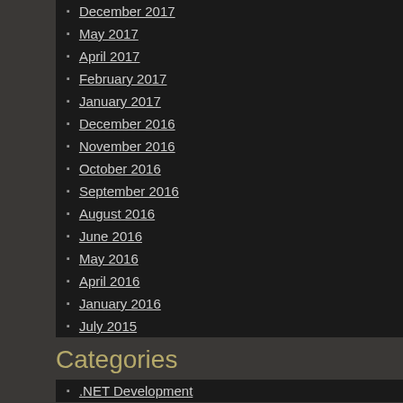December 2017
May 2017
April 2017
February 2017
January 2017
December 2016
November 2016
October 2016
September 2016
August 2016
June 2016
May 2016
April 2016
January 2016
July 2015
Categories
.NET Development